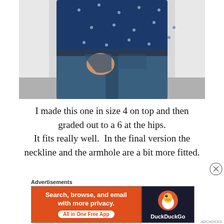[Figure (photo): Person wearing a navy blue dotted top and dark denim jeans, hands in pockets, photographed from chest to mid-thigh against a white background.]
I made this one in size 4 on top and then graded out to a 6 at the hips.
It fits really well.  In the final version the neckline and the armhole are a bit more fitted.
Advertisements
[Figure (screenshot): DuckDuckGo advertisement banner. Orange left panel reads 'Search, browse, and email with more privacy. All in One Free App'. Dark right panel shows DuckDuckGo duck logo and 'DuckDuckGo' text.]